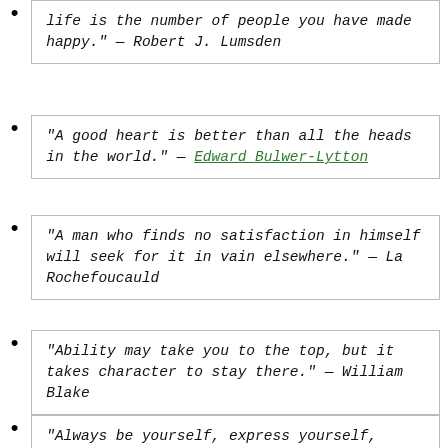"life is the number of people you have made happy." — Robert J. Lumsden
"A good heart is better than all the heads in the world." — Edward Bulwer-Lytton
"A man who finds no satisfaction in himself will seek for it in vain elsewhere." — La Rochefoucauld
"Ability may take you to the top, but it takes character to stay there." — William Blake
"Always be yourself, express yourself,